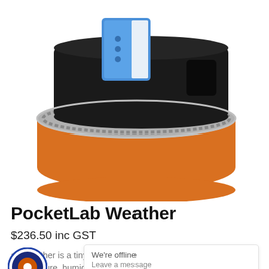[Figure (photo): Product photo of a PocketLab Weather device — a blue rectangular sensor standing in an open orange zipper case with black foam interior, on a white background.]
PocketLab Weather
$236.50 inc GST
We're offline
Leave a message
ab Weather is a tiny, portable weather sensor that can measure temperature, humidity, light, barometric